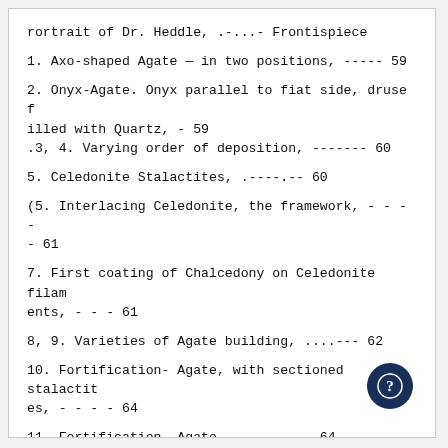rortrait of Dr. Heddle, .-...- Frontispiece
1. Axo-shaped Agate — in two positions, ----- 59
2. Onyx-Agate. Onyx parallel to fiat side, druse filled with Quartz, - 59
.3, 4. Varying order of deposition, ------- 60
5. Celedonite Stalactites, .----.-- 60
(5. Interlacing Celedonite, the framework, - - - - - 61
7. First coating of Chalcedony on Celedonite filaments, - - - 61
8, 9. Varieties of Agate building, ....--- 62
10. Fortification- Agate, with sectioned stalactites, - - - - 64
11. Fortification- Agate, ---------- 64
12. Cacholong and Chalcedony Agate, with one tube